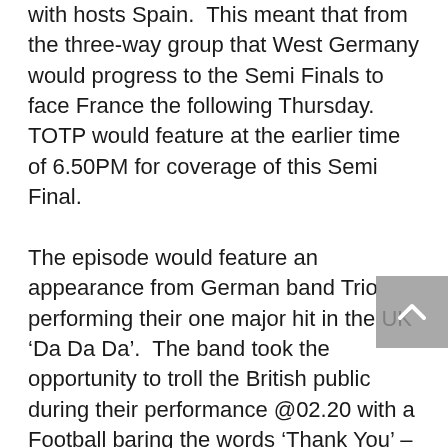with hosts Spain.  This meant that from the three-way group that West Germany would progress to the Semi Finals to face France the following Thursday.  TOTP would feature at the earlier time of 6.50PM for coverage of this Semi Final.

The episode would feature an appearance from German band Trio performing their one major hit in the UK ‘Da Da Da’.  The band took the opportunity to troll the British public during their performance @02.20 with a Football baring the words ‘Thank You’ – which could be seen as either a way of thanking the British public for making their song a hit - with high hopes of a fourth German number one in a year, following on from Kraftwerk’s ‘The Model’, ‘Seven